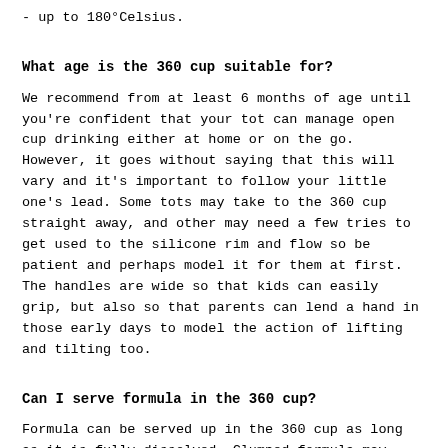- up to 180°Celsius.
What age is the 360 cup suitable for?
We recommend from at least 6 months of age until you're confident that your tot can manage open cup drinking either at home or on the go. However, it goes without saying that this will vary and it's important to follow your little one's lead. Some tots may take to the 360 cup straight away, and other may need a few tries to get used to the silicone rim and flow so be patient and perhaps model it for them at first. The handles are wide so that kids can easily grip, but also so that parents can lend a hand in those early days to model the action of lifting and tilting too.
Can I serve formula in the 360 cup?
Formula can be served up in the 360 cup as long as it is fully dissolved. Clumped formula may cause obstruction and the seal to leak so it would be best to mix your formula and then pour into the 360 cup to avoid this.